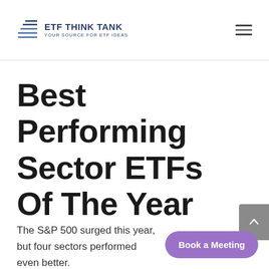ETF THINK TANK — YOUR SOURCE FOR ETF IDEAS
Best Performing Sector ETFs Of The Year
The S&P 500 surged this year, but four sectors performed even better.